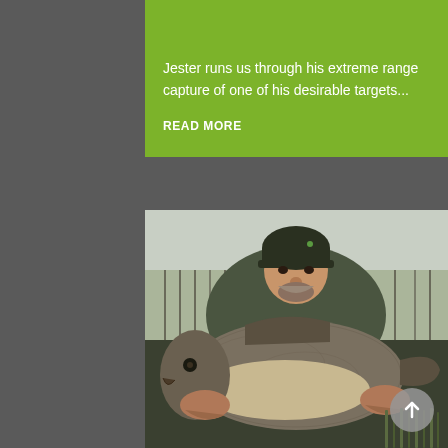Jester runs us through his extreme range capture of one of his desirable targets...
READ MORE
[Figure (photo): A smiling man wearing a dark green beanie hat and khaki jacket holding a very large mirror carp fish with both hands, outdoors near a lake with bare winter trees in the background.]